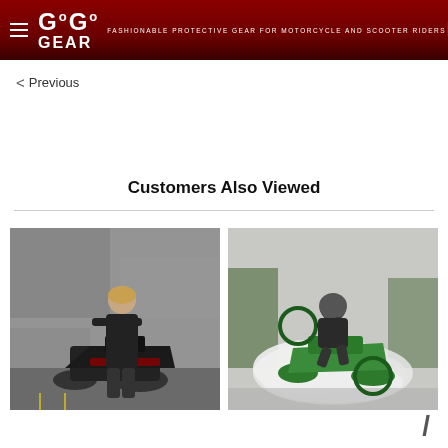GoGo GEAR — FASHIONABLE PROTECTIVE GEAR FOR MOTORCYCLE AND SCOOTER RIDERS
< Previous
Customers Also Viewed
[Figure (photo): Woman in all-black outfit standing in front of a red and black motorcycle against a concrete wall]
[Figure (photo): Motorcycle rider in black hoodie performing a burnout on a green motorcycle, creating a cloud of smoke]